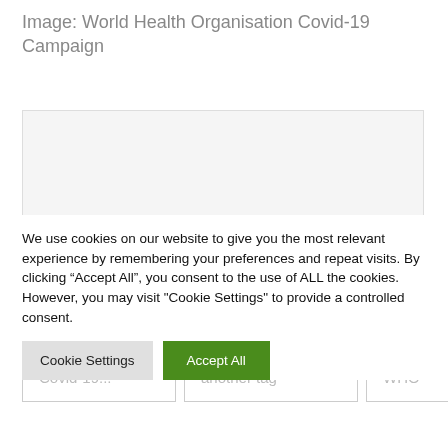Image: World Health Organisation Covid-19 Campaign
[Figure (photo): Placeholder image area for WHO Covid-19 Campaign photo]
Covid-19  disease  fear  pandemic
[partial tags row: Covid-19..., another tag, WHO]
We use cookies on our website to give you the most relevant experience by remembering your preferences and repeat visits. By clicking “Accept All”, you consent to the use of ALL the cookies. However, you may visit "Cookie Settings" to provide a controlled consent.
Cookie Settings  Accept All